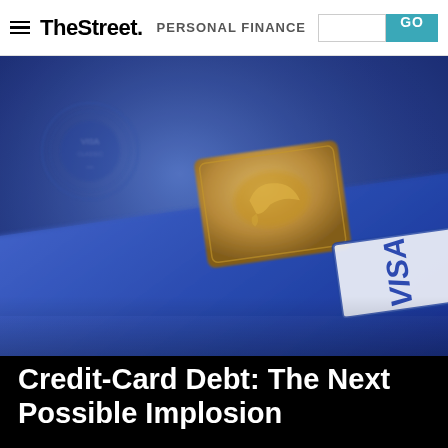TheStreet PERSONAL FINANCE
[Figure (photo): Close-up macro photograph of blue credit cards stacked together, showing embossed card numbers, a gold chip, and a partial Visa logo in the bottom right area.]
Credit-Card Debt: The Next Possible Implosion